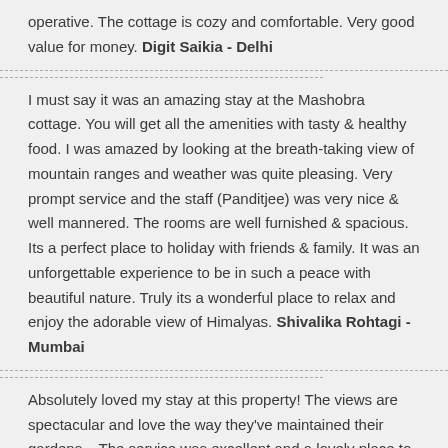operative. The cottage is cozy and comfortable. Very good value for money. Digit Saikia - Delhi
I must say it was an amazing stay at the Mashobra cottage. You will get all the amenities with tasty & healthy food. I was amazed by looking at the breath-taking view of mountain ranges and weather was quite pleasing. Very prompt service and the staff (Panditjee) was very nice & well mannered. The rooms are well furnished & spacious. Its a perfect place to holiday with friends & family. It was an unforgettable experience to be in such a peace with beautiful nature. Truly its a wonderful place to relax and enjoy the adorable view of Himalyas. Shivalika Rohtagi - Mumbai
Absolutely loved my stay at this property! The views are spectacular and love the way they've maintained their gardens... The service was excellent and a lovely place to holiday when in the mood to just unwind and relax... Fantastic experience...